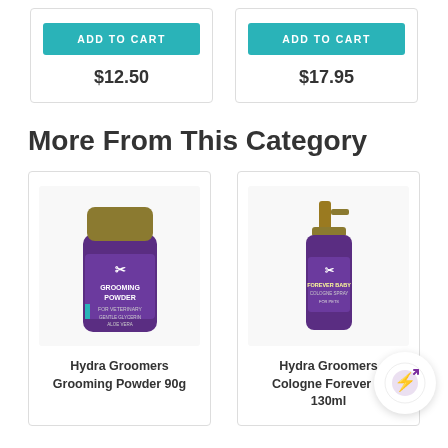ADD TO CART
$12.50
ADD TO CART
$17.95
More From This Category
[Figure (photo): Hydra Groomers Grooming Powder 90g product bottle - purple container with gold lid]
Hydra Groomers Grooming Powder 90g
[Figure (photo): Hydra Groomers Cologne Forever spray bottle 130ml - purple bottle with gold pump sprayer]
Hydra Groomers Cologne Forever ... 130ml